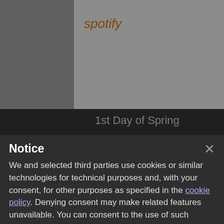[Figure (screenshot): Background web page showing Spotify search result for '1st Day of Spring' with a video thumbnail and related posts section, partially obscured by a cookie consent modal dialog.]
Notice
We and selected third parties use cookies or similar technologies for technical purposes and, with your consent, for other purposes as specified in the cookie policy. Denying consent may make related features unavailable. You can consent to the use of such technologies by using the “Accept” button, by closing this notice, by scrolling this page, by interacting with any link or button outside of this notice or by continuing to browse otherwise.
Accept
Learn more and customize